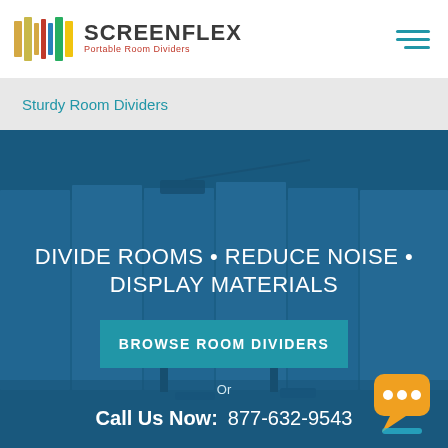[Figure (logo): Screenflex Portable Room Dividers logo with colorful panel icon and company name]
Sturdy Room Dividers
[Figure (photo): Blue-tinted photo of portable room dividers in a room with a desk and chairs, overlaid with hero text and CTA button]
DIVIDE ROOMS • REDUCE NOISE • DISPLAY MATERIALS
BROWSE ROOM DIVIDERS
Or
Call Us Now: 877-632-9543